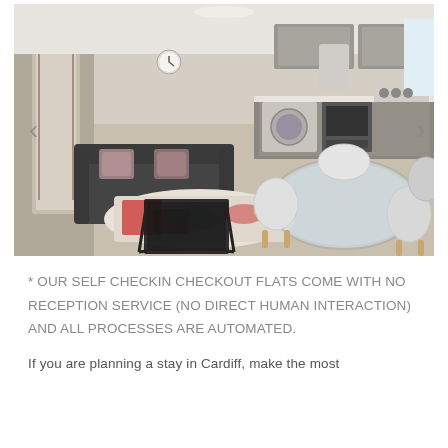[Figure (photo): Interior photo of a modern open-plan flat showing a dark sofa with cushions, a glass coffee table, a colorful abstract rug, a round glass dining table with white chairs, and a grey fitted kitchen in the background. Light wood-effect flooring throughout.]
* OUR SELF CHECKIN CHECKOUT FLATS COME WITH NO RECEPTION SERVICE (NO DIRECT HUMAN INTERACTION) AND ALL PROCESSES ARE AUTOMATED.
If you are planning a stay in Cardiff, make the most